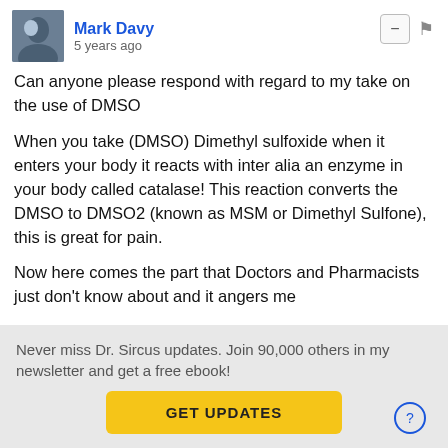Mark Davy · 5 years ago
Can anyone please respond with regard to my take on the use of DMSO
When you take (DMSO) Dimethyl sulfoxide when it enters your body it reacts with inter alia an enzyme in your body called catalase! This reaction converts the DMSO to DMSO2 (known as MSM or Dimethyl Sulfone), this is great for pain.
Now here comes the part that Doctors and Pharmacists just don't know about and it angers me
If you have a problem and are rushed to hospital and they give you pure Oxygen, or if you go Scuba diving and dive below a depth equal to 1 atmosphere, then the extra Pure OXYGEN introduced into your blood reacts
Never miss Dr. Sircus updates. Join 90,000 others in my newsletter and get a free ebook!